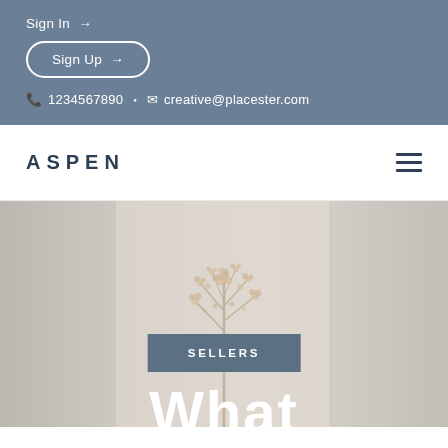Sign In →
Sign Up →
1234567890 • creative@placester.com
ASPEN
[Figure (screenshot): Real estate website screenshot showing a hero section with a blurred interior/plant photo background, a 'SELLERS' category badge, and large white 'What' heading text]
SELLERS
What